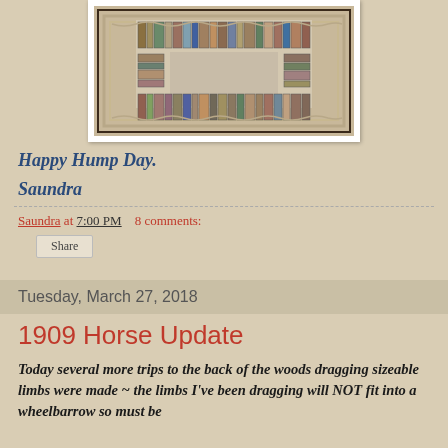[Figure (photo): A hooked rug with a book basket pattern, colorful rectangles arranged like books, with a wavy border, displayed with a white frame/border]
Happy Hump Day.
Saundra
Saundra at 7:00 PM   8 comments:
Share
Tuesday, March 27, 2018
1909 Horse Update
Today several more trips to the back of the woods dragging sizeable limbs were made ~ the limbs I've been dragging will NOT fit into a wheelbarrow so must be